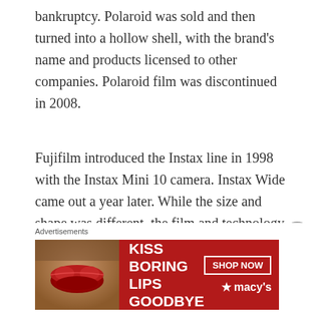bankruptcy. Polaroid was sold and then turned into a hollow shell, with the brand's name and products licensed to other companies. Polaroid film was discontinued in 2008.
Fujifilm introduced the Instax line in 1998 with the Instax Mini 10 camera. Instax Wide came out a year later. While the size and shape was different, the film and technology was recycled from the Fotorama line. By this time Fujifilm was no longer obligated to remain outside of the U.S. market, but they
Advertisements
[Figure (illustration): Macy's advertisement banner with red background showing lips, text 'KISS BORING LIPS GOODBYE', 'SHOP NOW' button, and Macy's star logo]